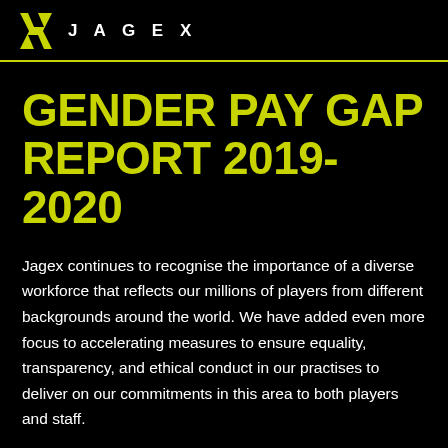JAGEX
GENDER PAY GAP REPORT 2019-2020
Jagex continues to recognise the importance of a diverse workforce that reflects our millions of players from different backgrounds around the world. We have added even more focus to accelerating measures to ensure equality, transparency, and ethical conduct in our practises to deliver on our commitments in this area to both players and staff.
In the report issued for 2018-2019, we acknowledged an expected increase in our gender pay gap for the following